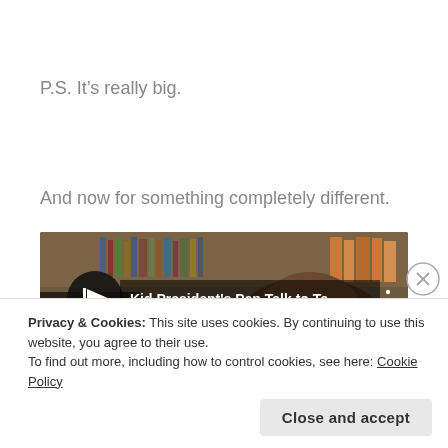P.S. It’s really big.
And now for something completely different.
[Figure (screenshot): YouTube video thumbnail showing 'Kid President's Pep Talk to Te...' with a child in front of bookshelves]
Privacy & Cookies: This site uses cookies. By continuing to use this website, you agree to their use.
To find out more, including how to control cookies, see here: Cookie Policy
Close and accept